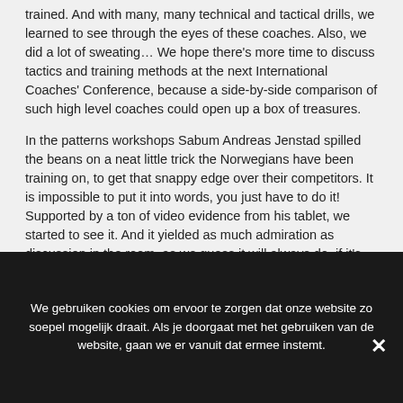trained. And with many, many technical and tactical drills, we learned to see through the eyes of these coaches. Also, we did a lot of sweating… We hope there's more time to discuss tactics and training methods at the next International Coaches' Conference, because a side-by-side comparison of such high level coaches could open up a box of treasures.
In the patterns workshops Sabum Andreas Jenstad spilled the beans on a neat little trick the Norwegians have been training on, to get that snappy edge over their competitors. It is impossible to put it into words, you just have to do it! Supported by a ton of video evidence from his tablet, we started to see it. And it yielded as much admiration as discussion in the room, as we guess it will always do, if it's not literally in the encyclopedia 😉
Sabum Lylian Doulay explained his take on preparing for important tournaments. A big surprise might be that he doesn't focus all that
We gebruiken cookies om ervoor te zorgen dat onze website zo soepel mogelijk draait. Als je doorgaat met het gebruiken van de website, gaan we er vanuit dat ermee instemt.